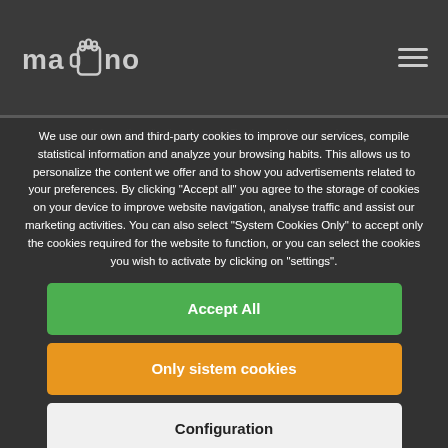[Figure (logo): ma(hand icon)no logo in white text on dark header bar]
information plication elements like the previous one where
We use our own and third-party cookies to improve our services, compile statistical information and analyze your browsing habits. This allows us to personalize the content we offer and to show you advertisements related to your preferences. By clicking "Accept all" you agree to the storage of cookies on your device to improve website navigation, analyse traffic and assist our marketing activities. You can also select "System Cookies Only" to accept only the cookies required for the website to function, or you can select the cookies you wish to activate by clicking on "settings".
Accept All
Only sistem cookies
Configuration